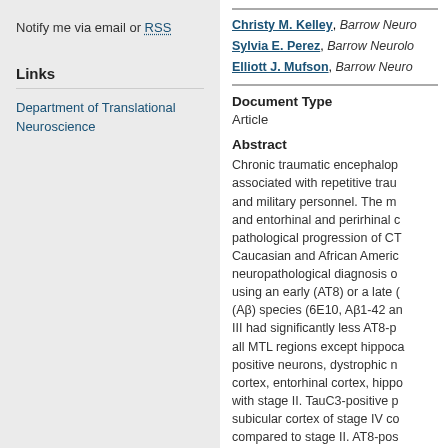Notify me via email or RSS
Links
Department of Translational Neuroscience
Christy M. Kelley, Barrow Neuro...
Sylvia E. Perez, Barrow Neurolo...
Elliott J. Mufson, Barrow Neuro...
Document Type
Article
Abstract
Chronic traumatic encephalop... associated with repetitive trau... and military personnel. The m... and entorhinal and perirhinal c... pathological progression of CT... Caucasian and African Americ... neuropathological diagnosis c... using an early (AT8) or a late (... (Aβ) species (6E10, Aβ1-42 an... III had significantly less AT8-pe... all MTL regions except hippoca... positive neurons, dystrophic n... cortex, entorhinal cortex, hippo... with stage II. TauC3-positive p... subicular cortex of stage IV co... compared to stage II. AT8-pos...